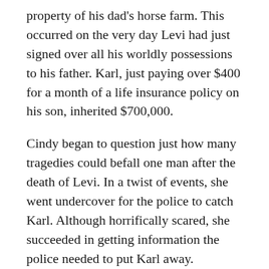property of his dad's horse farm. This occurred on the very day Levi had just signed over all his worldly possessions to his father. Karl, just paying over $400 for a month of a life insurance policy on his son, inherited $700,000.
Cindy began to question just how many tragedies could befall one man after the death of Levi. In a twist of events, she went undercover for the police to catch Karl. Although horrifically scared, she succeeded in getting information the police needed to put Karl away.
Karl pled guilty to the 2nd degree murder of his son, Levi, and was sentenced to 15 years (hardly enough).